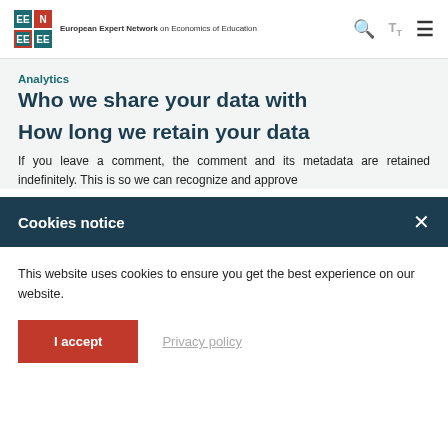[Figure (logo): EENEE logo - European Expert Network on Economics of Education, 2x2 grid of colored squares with EE, EN, EE, EE letters]
Analytics
Who we share your data with
How long we retain your data
If you leave a comment, the comment and its metadata are retained indefinitely. This is so we can recognize and approve
Cookies notice
This website uses cookies to ensure you get the best experience on our website.
I accept
Privacy policy